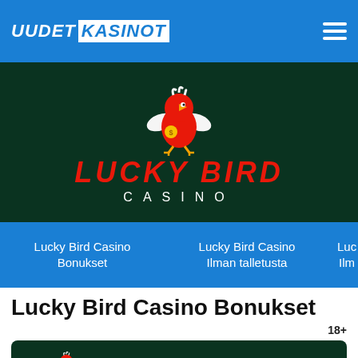UUDET KASINOT
[Figure (logo): Lucky Bird Casino logo: red cartoon bird with wings on dark green background, with LUCKY BIRD CASINO text]
Lucky Bird Casino Bonukset
Lucky Bird Casino Ilman talletusta
Luc Ilm
Lucky Bird Casino Bonukset
[Figure (logo): Lucky Bird Casino card showing logo, 100 and 100%]